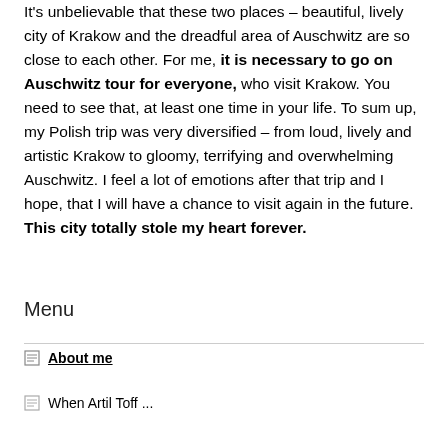It's unbelievable that these two places – beautiful, lively city of Krakow and the dreadful area of Auschwitz are so close to each other. For me, it is necessary to go on Auschwitz tour for everyone, who visit Krakow. You need to see that, at least one time in your life. To sum up, my Polish trip was very diversified – from loud, lively and artistic Krakow to gloomy, terrifying and overwhelming Auschwitz. I feel a lot of emotions after that trip and I hope, that I will have a chance to visit again in the future. This city totally stole my heart forever.
Menu
About me